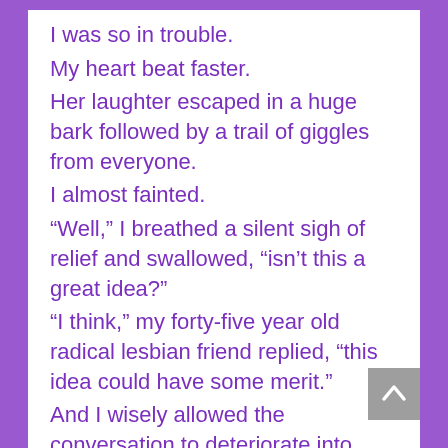I was so in trouble.
My heart beat faster.
Her laughter escaped in a huge bark followed by a trail of giggles from everyone.
I almost fainted.
“Well,” I breathed a silent sigh of relief and swallowed, “isn’t this a great idea?”
“I think,” my forty-five year old radical lesbian friend replied, “this idea could have some merit.”
And I wisely allowed the conversation to deteriorate into gossip about old friends and cooking instructions.
But I smiled knowingly for the rest of the